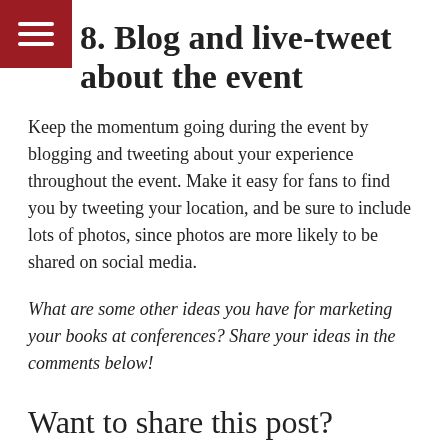☰ (hamburger menu icon)
8. Blog and live-tweet about the event
Keep the momentum going during the event by blogging and tweeting about your experience throughout the event. Make it easy for fans to find you by tweeting your location, and be sure to include lots of photos, since photos are more likely to be shared on social media.
What are some other ideas you have for marketing your books at conferences? Share your ideas in the comments below!
Want to share this post? Here’s a ready-made tweet: